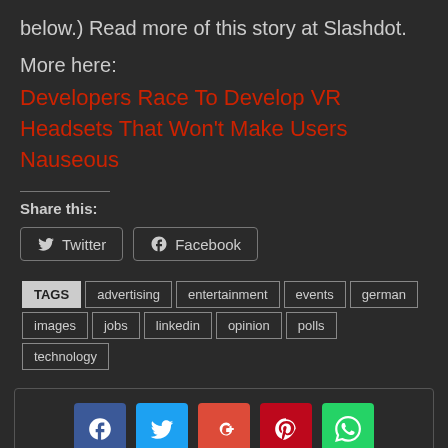below.) Read more of this story at Slashdot.
More here:
Developers Race To Develop VR Headsets That Won't Make Users Nauseous
Share this:
[Figure (infographic): Twitter and Facebook share buttons]
[Figure (infographic): Tags: advertising, entertainment, events, german, images, jobs, linkedin, opinion, polls, technology]
[Figure (infographic): Social share box with Facebook, Twitter, Google+, Pinterest, WhatsApp icons and Tweet button]